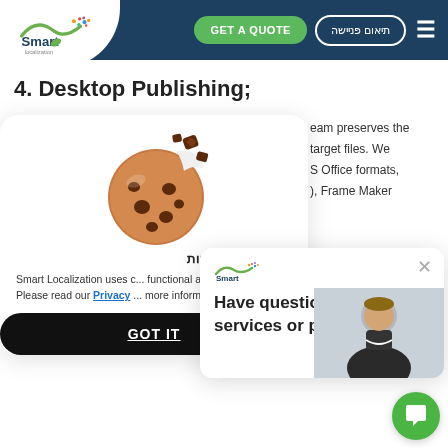Smart Localization — GET A QUOTE | תיאום פניישה | Navigation
4. Desktop Publishing;
[Figure (illustration): Cookie popup overlay with chocolate chip cookie image]
אבל ראשית, עוגיות
Smart Localization uses c... functional and analytics p... Please read our Privacy ... more information.
GOT IT
eam preserves the target files. We S Office formats, ), Frame Maker
[Figure (screenshot): Chat widget popup: Smart logo, close button X, text 'Have questions about our services or pricing?', agent photo, green chat button]